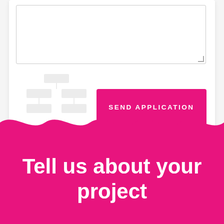[Figure (screenshot): Top portion of a web application form showing a textarea input field with a resize handle, a decorative brick/org-chart watermark graphic, and a pink 'SEND APPLICATION' button on a white card over a light gray background.]
Tell us about your project